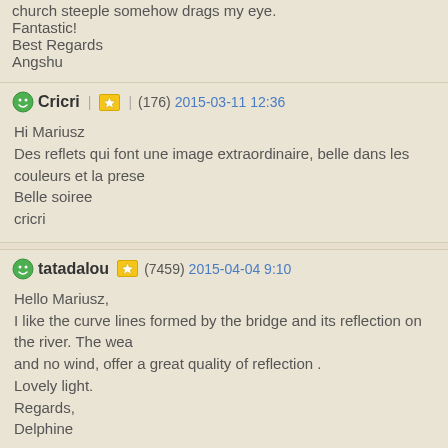church steeple somehow drags my eye.
Fantastic!
Best Regards
Angshu
Cricri | ★ | (176) 2015-03-11 12:36

Hi Mariusz
Des reflets qui font une image extraordinaire, belle dans les couleurs et la prese
Belle soiree
cricri
tatadalou | ★ | (7459) 2015-04-04 9:10

Hello Mariusz,
I like the curve lines formed by the bridge and its reflection on the river. The wea
and no wind, offer a great quality of reflection .
Lovely light.
Regards,
Delphine
Kielia | ★ | (24077) 2015-05-06 8:12

Hi Mariusz,